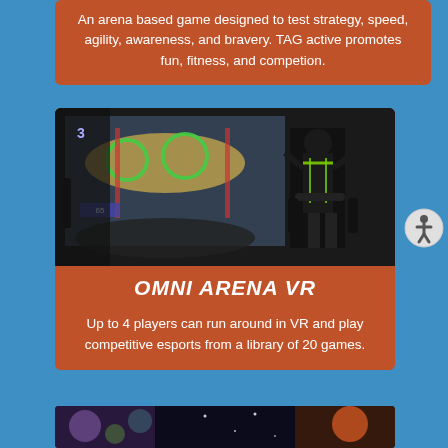An arena based game designed to test strategy, speed, agility, awareness, and bravery. TAG active promotes fun, fitness, and competion.
[Figure (photo): Person wearing VR harness/rig equipment in front of large projection screen showing a VR racing game interface with speed indicators and track graphics]
OMNI ARENA VR
Up to 4 players can run around in VR and play competitive esports from a library of 20 games.
[Figure (photo): Partial view of another activity/game card at the bottom of the page]